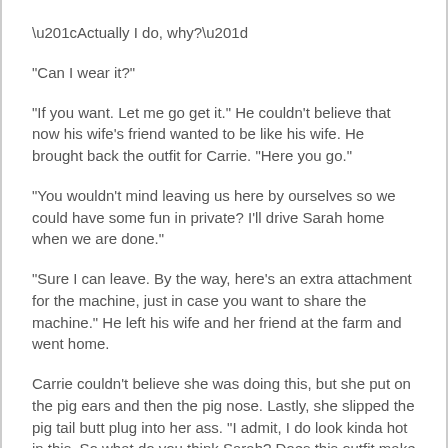“Actually I do, why?”
“Can I wear it?”
“If you want. Let me go get it.” He couldn’t believe that now his wife’s friend wanted to be like his wife. He brought back the outfit for Carrie. “Here you go.”
“You wouldn’t mind leaving us here by ourselves so we could have some fun in private? I’ll drive Sarah home when we are done.”
“Sure I can leave. By the way, here’s an extra attachment for the machine, just in case you want to share the machine.” He left his wife and her friend at the farm and went home.
Carrie couldn’t believe she was doing this, but she put on the pig ears and then the pig nose. Lastly, she slipped the pig tail butt plug into her ass. “I admit, I do look kinda hot in this. So what do you think Sarah? Does this outfit make me look hot? Does seeing your friend dressed like you make you horny?”